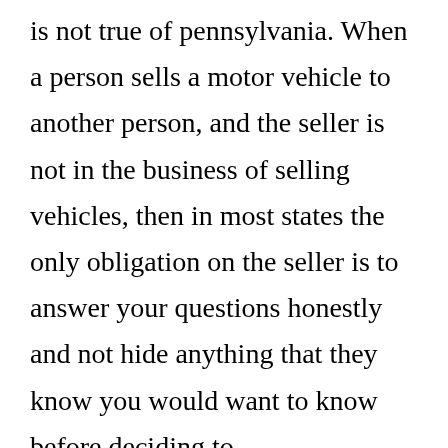is not true of pennsylvania. When a person sells a motor vehicle to another person, and the seller is not in the business of selling vehicles, then in most states the only obligation on the seller is to answer your questions honestly and not hide anything that they know you would want to know before deciding to. Pennsylvania�s automobile lemon law is designed to protect you from being financially burdened by a dud vehicle. Pennsylvania and maryland do not currently offer any [CLOSE X button] t... d vehicle